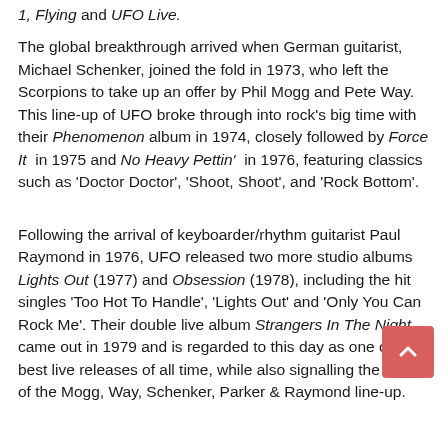1, Flying and UFO Live.
The global breakthrough arrived when German guitarist, Michael Schenker, joined the fold in 1973, who left the Scorpions to take up an offer by Phil Mogg and Pete Way. This line-up of UFO broke through into rock's big time with their Phenomenon album in 1974, closely followed by Force It in 1975 and No Heavy Pettin' in 1976, featuring classics such as 'Doctor Doctor', 'Shoot, Shoot', and 'Rock Bottom'.
Following the arrival of keyboarder/rhythm guitarist Paul Raymond in 1976, UFO released two more studio albums Lights Out (1977) and Obsession (1978), including the hit singles 'Too Hot To Handle', 'Lights Out' and 'Only You Can Rock Me'. Their double live album Strangers In The Night came out in 1979 and is regarded to this day as one of the best live releases of all time, while also signalling the 'end' of the Mogg, Way, Schenker, Parker & Raymond line-up.